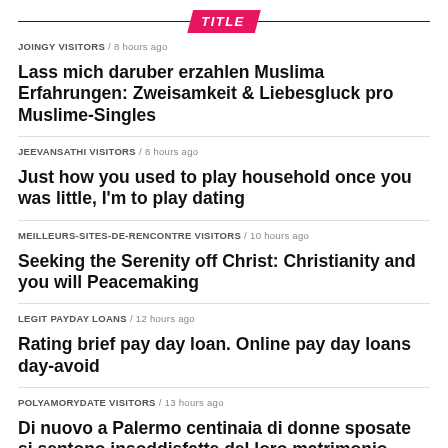TITLE
JOINGY VISITORS / 8 hours ago
Lass mich daruber erzahlen Muslima Erfahrungen: Zweisamkeit & Liebesgluck pro Muslime-Singles
JEEVANSATHI VISITORS / 8 hours ago
Just how you used to play household once you was little, I'm to play dating
MEILLEURS-SITES-DE-RENCONTRE VISITORS / 10 hours ago
Seeking the Serenity off Christ: Christianity and you will Peacemaking
LEGIT PAYDAY LOANS / 12 hours ago
Rating brief pay day loan. Online pay day loans day-avoid
POLYAMORYDATE VISITORS / 13 hours ago
Di nuovo a Palermo centinaia di donne sposate si sentono insoddisfatte del loro matrimonio
UPFORIT PL REVIEW / 17 hours ago
How i turned into a beneficial Trans Legal rights Activist — after that turned into "Intercourse Crucial"